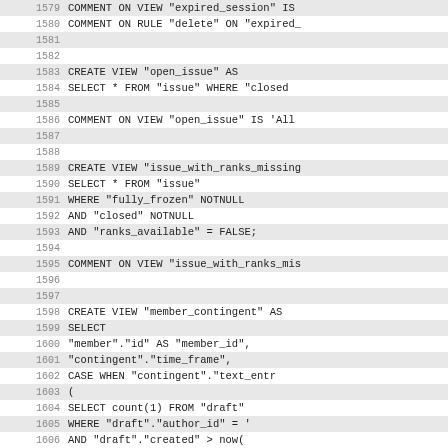1579 COMMENT ON VIEW "expired_session" IS
1580 COMMENT ON RULE "delete" ON "expired_
1581
1582
1583 CREATE VIEW "open_issue" AS
1584     SELECT * FROM "issue" WHERE "closed
1585
1586 COMMENT ON VIEW "open_issue" IS 'All
1587
1588
1589 CREATE VIEW "issue_with_ranks_missing
1590     SELECT * FROM "issue"
1591     WHERE "fully_frozen" NOTNULL
1592     AND "closed" NOTNULL
1593     AND "ranks_available" = FALSE;
1594
1595 COMMENT ON VIEW "issue_with_ranks_mis
1596
1597
1598 CREATE VIEW "member_contingent" AS
1599     SELECT
1600         "member"."id" AS "member_id",
1601         "contingent"."time_frame",
1602         CASE WHEN "contingent"."text_entr
1603         (
1604             SELECT count(1) FROM "draft"
1605             WHERE "draft"."author_id" = '
1606             AND "draft"."created" > now(